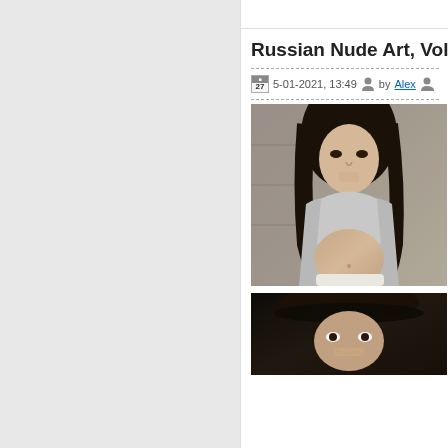Russian Nude Art, Vol. 217
5-01-2021, 13:49   by Alex
[Figure (photo): Photo of a dark-haired woman lifting a grey top, photographed outdoors against a stone wall background]
[Figure (photo): Partial view of a dark-haired woman, lower portion visible, dark background]